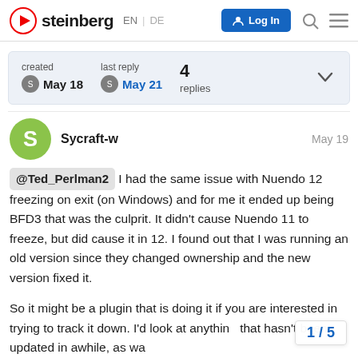steinberg EN | DE  Log In
| created | last reply | 4 replies |
| --- | --- | --- |
| May 18 | May 21 |  |
@Ted_Perlman2 I had the same issue with Nuendo 12 freezing on exit (on Windows) and for me it ended up being BFD3 that was the culprit. It didn't cause Nuendo 11 to freeze, but did cause it in 12. I found out that I was running an old version since they changed ownership and the new version fixed it.

So it might be a plugin that is doing it if you are interested in trying to track it down. I'd look at anything that hasn't been updated in awhile, as wa
1 / 5